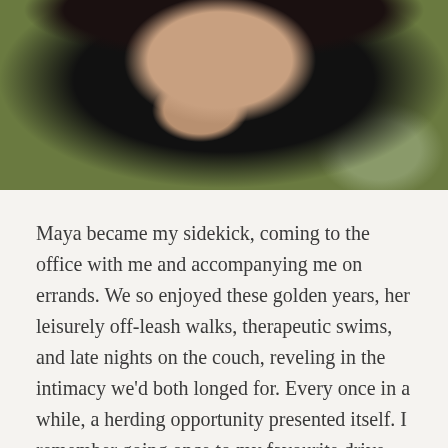[Figure (photo): Close-up photo of a black dog with its tongue hanging out, viewed from slightly above. The dog's nose and open mouth with a large pink tongue are the focal point. Background shows blurred green and brown foliage.]
Maya became my sidekick, coming to the office with me and accompanying me on errands. We so enjoyed these golden years, her leisurely off-leash walks, therapeutic swims, and late nights on the couch, reveling in the intimacy we'd both longed for. Every once in a while, a herding opportunity presented itself. I remember going once to my favourite drive-through with Maya riding shotgun. We arrived at the intersection